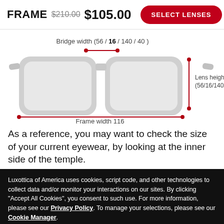FRAME $210.00 $105.00
[Figure (illustration): Eyeglasses frame sizing diagram showing bridge width (56/16/140/40), lens height (56/16/140/40), and frame width 116, with red measurement arrows on a light grey glasses illustration]
As a reference, you may want to check the size of your current eyewear, by looking at the inner side of the temple.
Luxottica of America uses cookies, script code, and other technologies to collect data and/or monitor your interactions on our sites. By clicking "Accept All Cookies", you consent to such use. For more information, please see our Privacy Policy. To manage your selections, please see our Cookie Manager.
ACCEPT ALL COOKIES